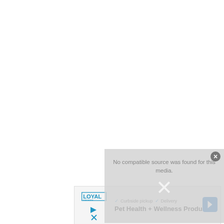[Figure (screenshot): White blank area taking up top portion of page, representing an empty webpage area above a video player overlay and advertisement banner.]
[Figure (screenshot): Video player overlay with gray background showing text 'No compatible source was found for this media.' with a close button (X) in the top right corner and a large X/cross symbol in the center.]
[Figure (screenshot): Advertisement banner for a pet health and wellness brand. Left side shows 'LOYAL' logo, play and X icons. Right side shows checkmarks for 'Curbside pickup' and 'Delivery', and the text 'Pet Health + Wellness Products'. A blue navigation arrow appears on the right.]